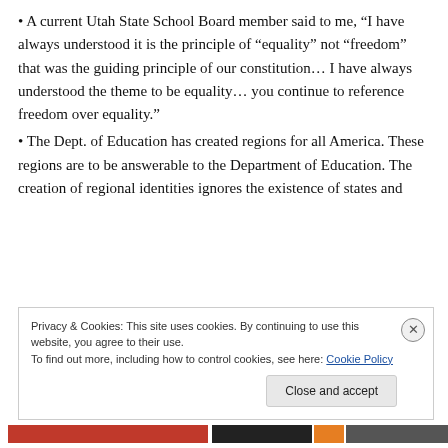• A current Utah State School Board member said to me, “I have always understood it is the principle of “equality” not “freedom” that was the guiding principle of our constitution… I have always understood the theme to be equality… you continue to reference freedom over equality.”
• The Dept. of Education has created regions for all America. These regions are to be answerable to the Department of Education. The creation of regional identities ignores the existence of states and
Privacy & Cookies: This site uses cookies. By continuing to use this website, you agree to their use. To find out more, including how to control cookies, see here: Cookie Policy
Close and accept